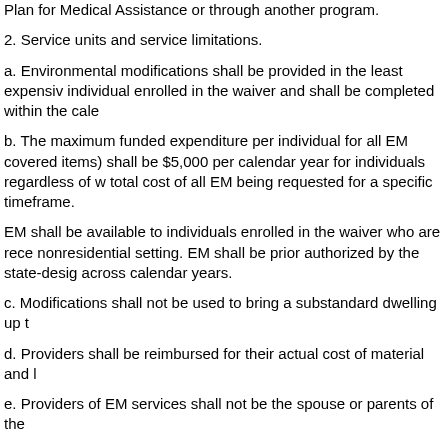Plan for Medical Assistance or through another program.
2. Service units and service limitations.
a. Environmental modifications shall be provided in the least expensive individual enrolled in the waiver and shall be completed within the cale
b. The maximum funded expenditure per individual for all EM covered items) shall be $5,000 per calendar year for individuals regardless of w total cost of all EM being requested for a specific timeframe.
EM shall be available to individuals enrolled in the waiver who are rece nonresidential setting. EM shall be prior authorized by the state-desig across calendar years.
c. Modifications shall not be used to bring a substandard dwelling up t
d. Providers shall be reimbursed for their actual cost of material and l
e. Providers of EM services shall not be the spouse or parents of the
f. Excluded from coverage under this waiver service shall be those ada not of direct medical or remedial benefit to the individual enrolled in t